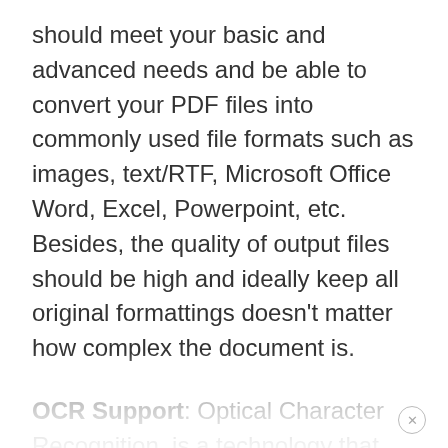should meet your basic and advanced needs and be able to convert your PDF files into commonly used file formats such as images, text/RTF, Microsoft Office Word, Excel, Powerpoint, etc. Besides, the quality of output files should be high and ideally keep all original formattings doesn’t matter how complex the document is.
OCR Support: Optical Character Recognition, is a technology that can convert a scanned PDF image into computer recognizable text elements. the best Mac PDF converter integrates OCR will save you a huge amount of time when it comes to dealing with scanned PDF files.